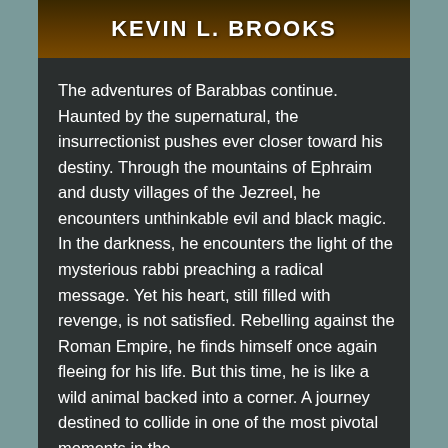[Figure (illustration): Book cover header with author name KEVIN L. BROOKS on a dark brownish-orange textured background]
The adventures of Barabbas continue. Haunted by the supernatural, the insurrectionist pushes ever closer toward his destiny. Through the mountains of Ephraim and dusty villages of the Jezreel, he encounters unthinkable evil and black magic. In the darkness, he encounters the light of the mysterious rabbi preaching a radical message. Yet his heart, still filled with revenge, is not satisfied. Rebelling against the Roman Empire, he finds himself once again fleeing for his life. But this time, he is like a wild animal backed into a corner. A journey destined to collide in one of the most pivotal moments in the